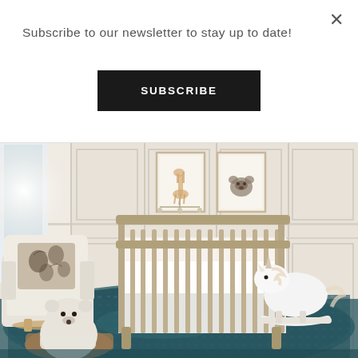×
Subscribe to our newsletter to stay up to date!
SUBSCRIBE
[Figure (photo): A beautifully decorated nursery room featuring a wooden baby crib in the center, a white upholstered rocking chair with a floral pillow on the left, two framed animal prints on a wainscoted white wall behind the crib, a teal/blue distressed area rug on the floor, a white rocking unicorn toy on the right, and a plush polar bear stuffed animal in a basket in the foreground.]